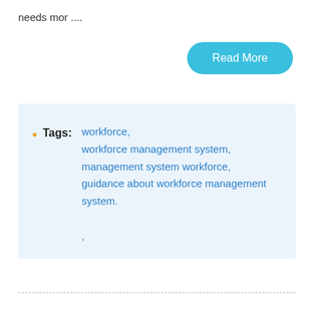needs mor ....
Read More
Tags: workforce, workforce management system, management system workforce, guidance about workforce management system. ,